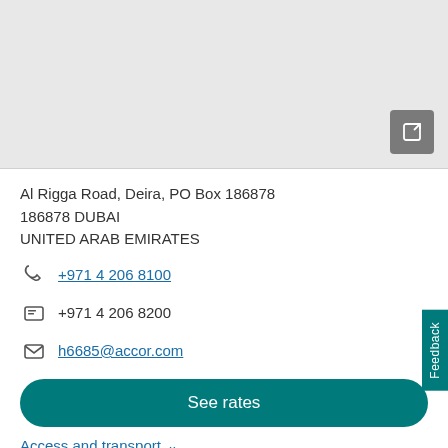[Figure (screenshot): Gray map placeholder area with an expand/resize button in the bottom-right corner]
Al Rigga Road, Deira, PO Box 186878
186878 DUBAI
UNITED ARAB EMIRATES
+971 4 206 8100
+971 4 206 8200
h6685@accor.com
See rates
Access and transport